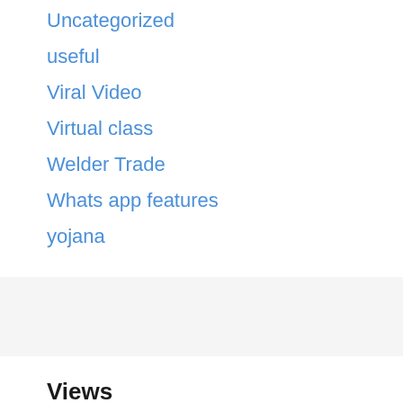Uncategorized
useful
Viral Video
Virtual class
Welder Trade
Whats app features
yojana
Views
PP Chone Online Education Tiktou...